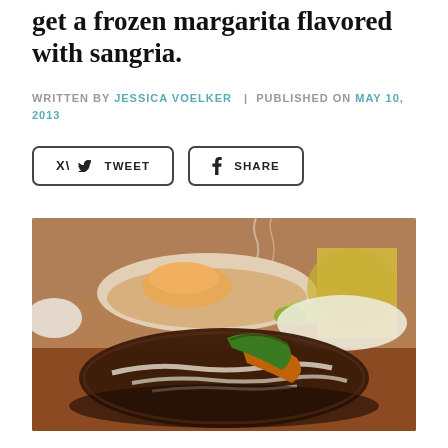get a frozen margarita flavored with sangria.
WRITTEN BY JESSICA VOELKER | PUBLISHED ON MAY 10, 2013
[Figure (photo): Sizzling fajitas on a skillet with grilled steak, onions, and green pepper in the foreground; side dishes with rice, guacamole, and lime in the background on a wooden table.]